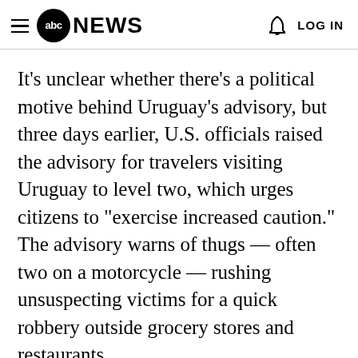abc NEWS | LOG IN
It's unclear whether there's a political motive behind Uruguay's advisory, but three days earlier, U.S. officials raised the advisory for travelers visiting Uruguay to level two, which urges citizens to "exercise increased caution." The advisory warns of thugs — often two on a motorcycle — rushing unsuspecting victims for a quick robbery outside grocery stores and restaurants.